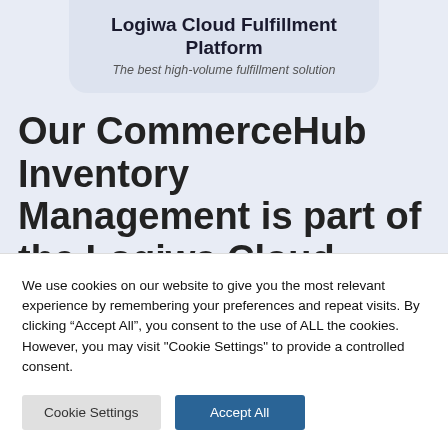Logiwa Cloud Fulfillment Platform
The best high-volume fulfillment solution
Our CommerceHub Inventory Management is part of the Logiwa Cloud Fulfillment Platform built specifically for high-volume
We use cookies on our website to give you the most relevant experience by remembering your preferences and repeat visits. By clicking “Accept All”, you consent to the use of ALL the cookies. However, you may visit "Cookie Settings" to provide a controlled consent.